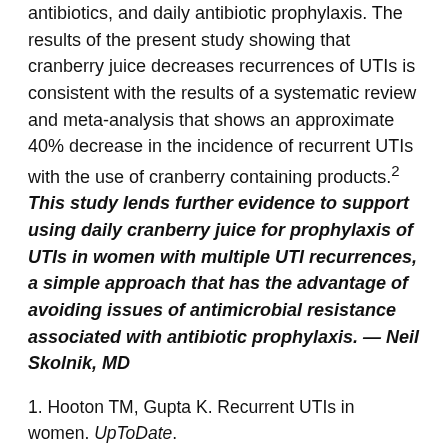antibiotics, and daily antibiotic prophylaxis. The results of the present study showing that cranberry juice decreases recurrences of UTIs is consistent with the results of a systematic review and meta-analysis that shows an approximate 40% decrease in the incidence of recurrent UTIs with the use of cranberry containing products.² This study lends further evidence to support using daily cranberry juice for prophylaxis of UTIs in women with multiple UTI recurrences, a simple approach that has the advantage of avoiding issues of antimicrobial resistance associated with antibiotic prophylaxis. — Neil Skolnik, MD
1. Hooton TM, Gupta K. Recurrent UTIs in women. UpToDate. https://www.uptodate.com/contents/recurrent-urinary-tract-infection-in-women?source=search_result&search=uti+prophylaxis&selectedTi